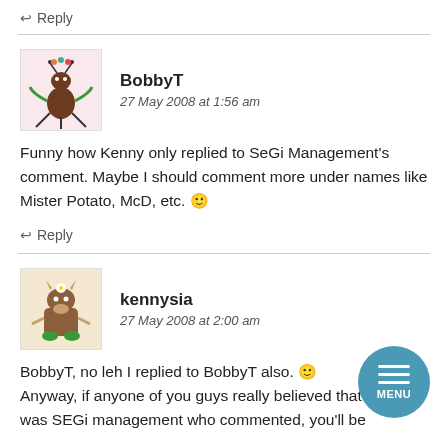↩ Reply
BobbyT
27 May 2008 at 1:56 am
Funny how Kenny only replied to SeGi Management's comment. Maybe I should comment more under names like Mister Potato, McD, etc. 🙂
↩ Reply
kennysia
27 May 2008 at 2:00 am
BobbyT, no leh I replied to BobbyT also. 🙂 Anyway, if anyone of you guys really believed that it was SEGi management who commented, you'll be